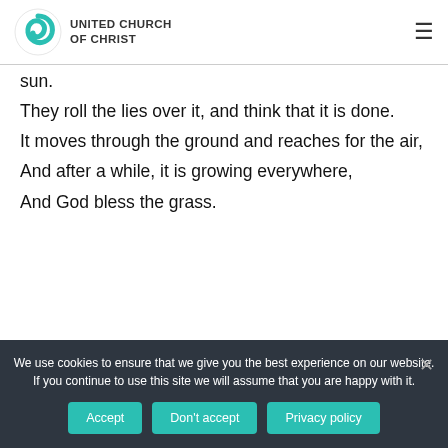[Figure (logo): United Church of Christ logo with teal spiral graphic and bold uppercase text 'UNITED CHURCH OF CHRIST']
sun.
They roll the lies over it, and think that it is done.
It moves through the ground and reaches for the air,
And after a while, it is growing everywhere,
And God bless the grass.
We use cookies to ensure that we give you the best experience on our website. If you continue to use this site we will assume that you are happy with it.